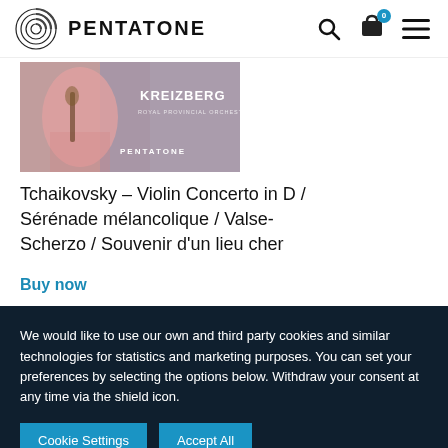PENTATONE
[Figure (photo): Album cover for Tchaikovsky Violin Concerto, showing a person playing violin in pink clothing with text KREIZBERG and PENTATONE overlay]
Tchaikovsky – Violin Concerto in D / Sérénade mélancolique / Valse-Scherzo / Souvenir d'un lieu cher
Buy now
We would like to use our own and third party cookies and similar technologies for statistics and marketing purposes. You can set your preferences by selecting the options below. Withdraw your consent at any time via the shield icon.